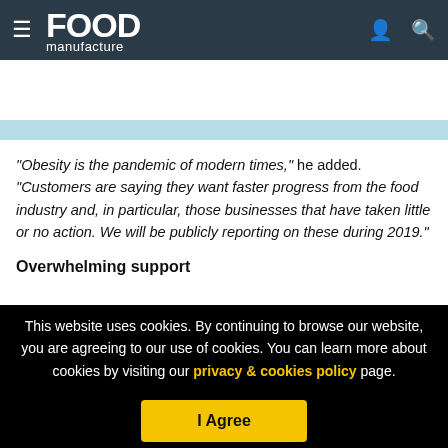Food Manufacture
[Figure (screenshot): Light blue banner with orange 'Learn more' button]
“Obesity is the pandemic of modern times,” he added. “Customers are saying they want faster progress from the food industry and, in particular, those businesses that have taken little or no action. We will be publicly reporting on these during 2019.”
Overwhelming support
This website uses cookies. By continuing to browse our website, you are agreeing to our use of cookies. You can learn more about cookies by visiting our privacy & cookies policy page.
I Agree